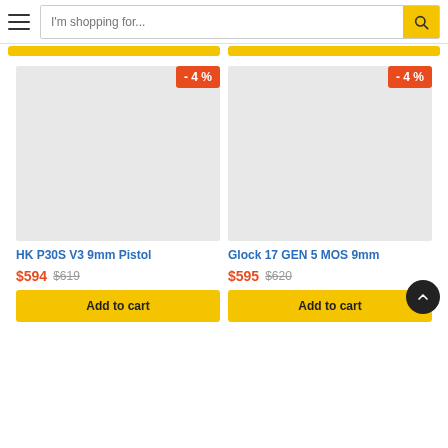[Figure (screenshot): E-commerce website header with hamburger menu icon and search bar reading 'I'm shopping for...' with a yellow search button]
[Figure (photo): Product image placeholder (light grey box) for HK P30S V3 9mm Pistol with -4% discount badge]
HK P30S V3 9mm Pistol
$594 $619
Add to cart
[Figure (photo): Product image placeholder (light grey box) for Glock 17 GEN 5 MOS 9mm with -4% discount badge]
Glock 17 GEN 5 MOS 9mm
$595 $620
Add to cart